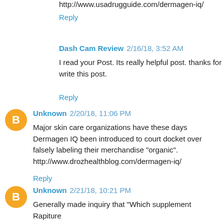http://www.usadrugguide.com/dermagen-iq/
Reply
Dash Cam Review 2/16/18, 3:52 AM
I read your Post. Its really helpful post. thanks for write this post.
Reply
Unknown 2/20/18, 11:06 PM
Major skin care organizations have these days Dermagen IQ been introduced to court docket over falsely labeling their merchandise "organic". http://www.drozhealthblog.com/dermagen-iq/
Reply
Unknown 2/21/18, 10:21 PM
Generally made inquiry that "Which supplement Rapiture